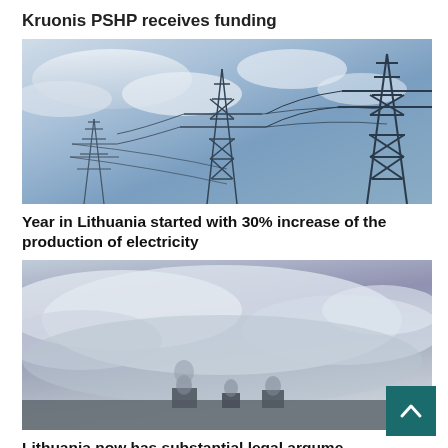Kruonis PSHP receives funding
[Figure (photo): Electric power transmission towers/pylons against a blue sky with clouds]
Year in Lithuania started with 30% increase of the production of electricity
[Figure (photo): Cloudy sky with industrial structures partially visible at the bottom]
Lithuania now has substantial legal arguments to deny access for electricity produced in the unsa